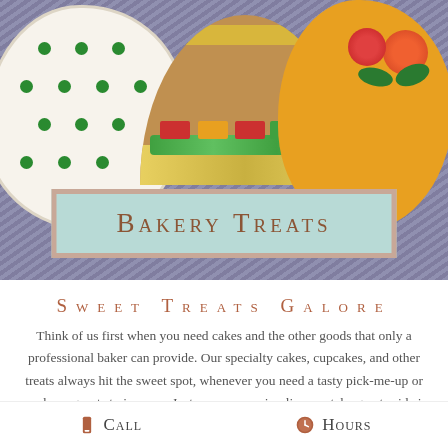[Figure (photo): Photo of decorated cookies including a polka-dot cookie, a taco-shaped cookie, and an orange floral cookie arranged on purple shredded paper, with a 'Bakery Treats' banner overlay]
BAKERY TREATS
SWEET TREATS GALORE
Think of us first when you need cakes and the other goods that only a professional baker can provide. Our specialty cakes, cupcakes, and other treats always hit the sweet spot, whenever you need a tasty pick-me-up or you have guests to impress. Just as our name implies, we take great pride in
Call
Hours